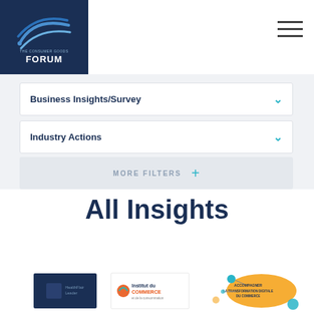[Figure (logo): The Consumer Goods Forum logo on dark navy blue background with wave/arc graphic]
[Figure (other): Hamburger menu icon (three horizontal lines) in top right corner]
Business Insights/Survey
Industry Actions
MORE FILTERS
All Insights
[Figure (logo): Three thumbnail logos/cards at bottom: dark blue card, Institut du Commerce logo, and an orange/teal infographic card]
ACCOMPAGNER LA TRANSFORMATION DIGITALE DU COMMERCE